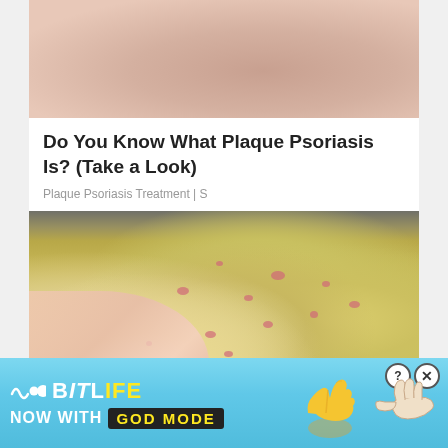[Figure (photo): Close-up photo of skin showing psoriasis plaque, pinkish-red skin texture]
Do You Know What Plaque Psoriasis Is? (Take a Look)
Plaque Psoriasis Treatment | S
[Figure (photo): Hands holding small yellow-green potatoes with pink/red spots, placed over a metal grate]
[Figure (other): BitLife advertisement banner: NOW WITH GOD MODE, with thumbs up emoji and pointing hand graphics]